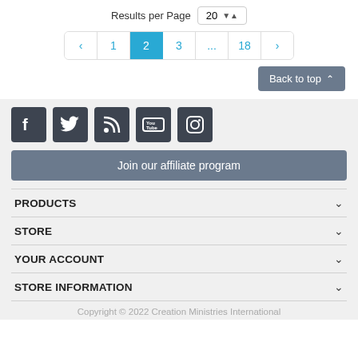Results per Page  20
< 1 2 3 ... 18 >
Back to top ^
[Figure (infographic): Social media icons: Facebook, Twitter, RSS, YouTube, Instagram]
Join our affiliate program
PRODUCTS
STORE
YOUR ACCOUNT
STORE INFORMATION
Copyright © 2022 Creation Ministries International